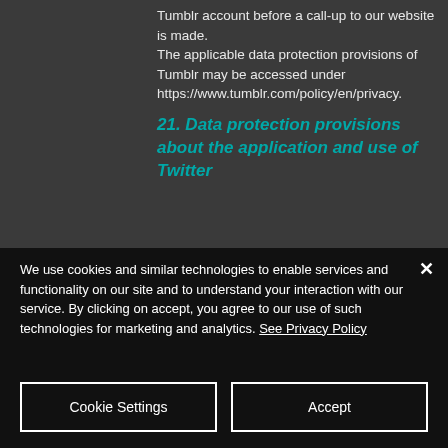Tumblr account before a call-up to our website is made.
The applicable data protection provisions of Tumblr may be accessed under https://www.tumblr.com/policy/en/privacy.
21. Data protection provisions about the application and use of Twitter
We use cookies and similar technologies to enable services and functionality on our site and to understand your interaction with our service. By clicking on accept, you agree to our use of such technologies for marketing and analytics. See Privacy Policy